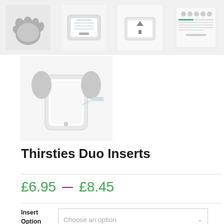[Figure (photo): Four product thumbnail images in a row: grey cloth/glove, flat rectangular pad, pad on surface, and product advertisement screenshot]
[Figure (photo): Single larger product image of a Thirsties Duo Insert cloth diaper insert]
Thirsties Duo Inserts
£6.95 — £8.45
Insert Option  Choose an option